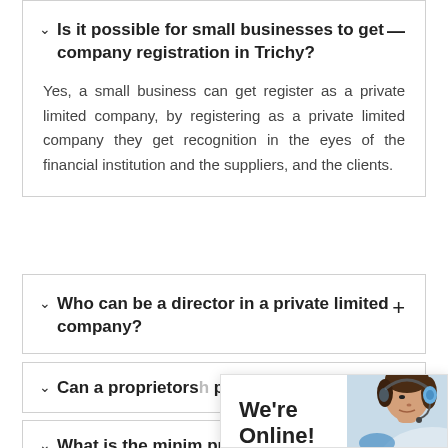▾ Is it possible for small businesses to get company registration in Trichy? —
Yes, a small business can get register as a private limited company, by registering as a private limited company they get recognition in the eyes of the financial institution and the suppliers, and the clients.
▾ Who can be a director in a private limited company? +
▾ Can a proprietors... private limited comp...
▾ What is the minim... private limited comp...
We're Online! How may I help you today? Chat now